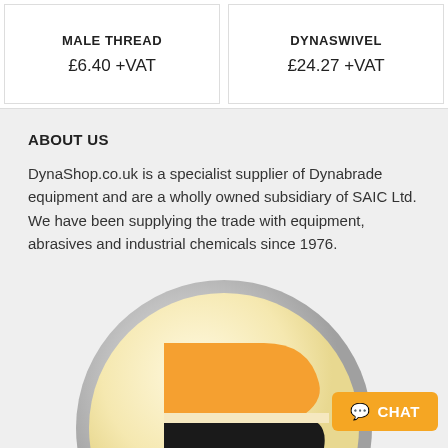MALE THREAD
£6.40 +VAT
DYNASWIVEL
£24.27 +VAT
ABOUT US
DynaShop.co.uk is a specialist supplier of Dynabrade equipment and are a wholly owned subsidiary of SAIC Ltd. We have been supplying the trade with equipment, abrasives and industrial chemicals since 1976.
[Figure (logo): Dynabrade circular badge logo with orange and black 'D' symbol, 'DYNABRADE' text, and 'LIFETIME' text in orange at the bottom. Silver/metallic circular border.]
CHAT